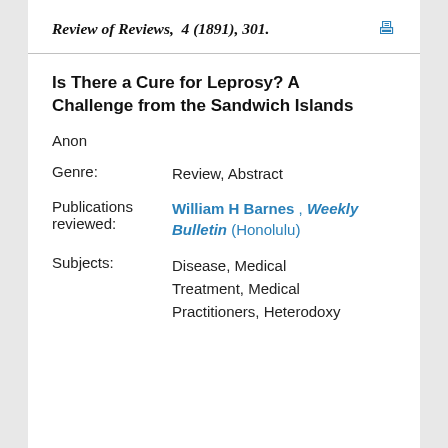Review of Reviews, 4 (1891), 301.
Is There a Cure for Leprosy? A Challenge from the Sandwich Islands
Anon
Genre: Review, Abstract
Publications reviewed: William H Barnes , Weekly Bulletin (Honolulu)
Subjects: Disease, Medical Treatment, Medical Practitioners, Heterodoxy